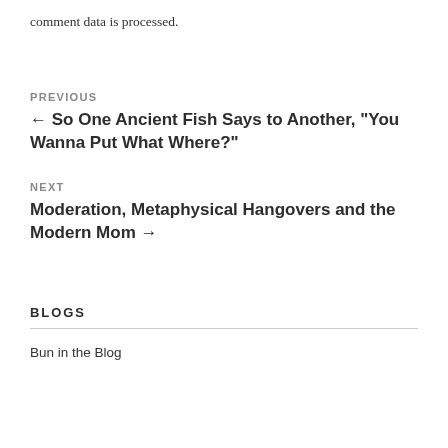comment data is processed.
PREVIOUS
← So One Ancient Fish Says to Another, "You Wanna Put What Where?"
NEXT
Moderation, Metaphysical Hangovers and the Modern Mom →
BLOGS
Bun in the Blog